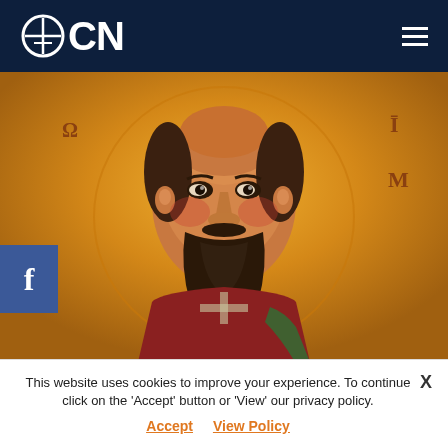OCN
[Figure (illustration): Byzantine/Orthodox icon of Saint John Chrysostom on gold background, showing the saint's face with dark beard and halo, dressed in liturgical vestments, with Greek letters visible]
ARTICLES
Saint John Chrysostom: Condign
This website uses cookies to improve your experience. To continue click on the 'Accept' button or 'View' our privacy policy.
Accept  View Policy